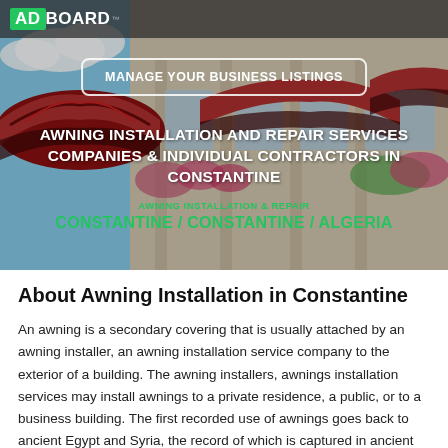[Figure (photo): Photo of building exterior with red striped awnings, flowers, and blue sky background. AdBoard logo overlay at top left.]
AWNING INSTALLATION AND REPAIR SERVICES COMPANIES & INDIVIDUAL CONTRACTORS IN CONSTANTINE
AWNING INSTALLATION & REPAIR
CONSTANTINE / CONSTANTINE / ALGERIA
MANAGE YOUR BUSINESS LISTINGS
About Awning Installation in Constantine
An awning is a secondary covering that is usually attached by an awning installer, an awning installation service company to the exterior of a building. The awning installers, awnings installation services may install awnings to a private residence, a public, or to a business building. The first recorded use of awnings goes back to ancient Egypt and Syria, the record of which is captured in ancient writings and poetry.